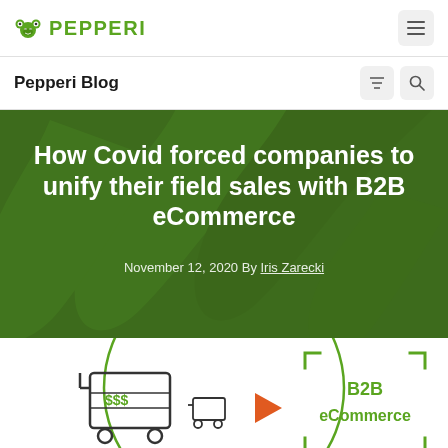PEPPERI
Pepperi Blog
How Covid forced companies to unify their field sales with B2B eCommerce
November 12, 2020 By Iris Zarecki
[Figure (illustration): B2B eCommerce illustration showing a shopping cart with dollar signs, a small cart, a play button, and a B2B eCommerce label inside green corner brackets, set against a circular green outline on white background]